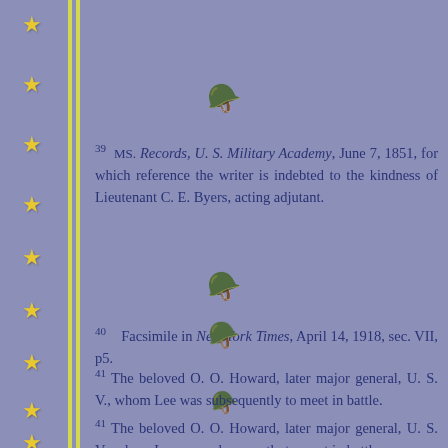[Figure (illustration): Decorative golden helmet icon centered near top]
39 MS. Records, U. S. Military Academy, June 7, 1851, for which reference the writer is indebted to the kindness of Lieutenant C. E. Byers, acting adjutant.
[Figure (illustration): Decorative golden helmet icon centered in middle]
40 Facsimile in New York Times, April 14, 1918, sec. VII, p5.
[Figure (illustration): Decorative golden helmet icon centered lower]
41 The beloved O. O. Howard, later major general, U. S. V., whom Lee was subsequently to meet in battle.